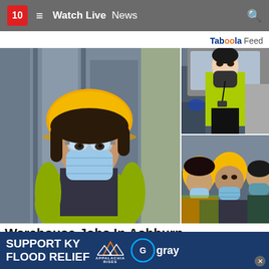10  ≡  Watch Live  News  🔍
Taboola Feed
[Figure (photo): Female warehouse worker wearing yellow hard hat, safety goggles, and blue face mask standing in industrial setting]
[Figure (photo): Worker in yellow high-visibility jacket and face mask sitting in truck cab doorway]
[Figure (photo): Group of warehouse workers wearing yellow hard hats and face masks]
Warehouse Jobs In Ashburn
Entry Level Jobs | Search | Sponsored
Try Now
SUPPORT KY FLOOD RELIEF  APPALACHIA RISES  gray